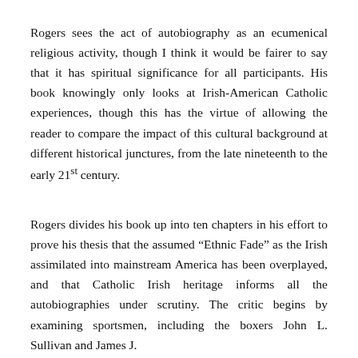Rogers sees the act of autobiography as an ecumenical religious activity, though I think it would be fairer to say that it has spiritual significance for all participants. His book knowingly only looks at Irish-American Catholic experiences, though this has the virtue of allowing the reader to compare the impact of this cultural background at different historical junctures, from the late nineteenth to the early 21st century.
Rogers divides his book up into ten chapters in his effort to prove his thesis that the assumed “Ethnic Fade” as the Irish assimilated into mainstream America has been overplayed, and that Catholic Irish heritage informs all the autobiographies under scrutiny. The critic begins by examining sportsmen, including the boxers John L. Sullivan and James J.